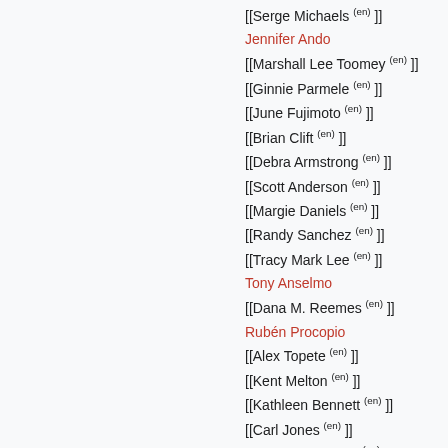[[Serge Michaels (en) ]]
Jennifer Ando
[[Marshall Lee Toomey (en) ]]
[[Ginnie Parmele (en) ]]
[[June Fujimoto (en) ]]
[[Brian Clift (en) ]]
[[Debra Armstrong (en) ]]
[[Scott Anderson (en) ]]
[[Margie Daniels (en) ]]
[[Randy Sanchez (en) ]]
[[Tracy Mark Lee (en) ]]
Tony Anselmo
[[Dana M. Reemes (en) ]]
Rubén Procopio
[[Alex Topete (en) ]]
[[Kent Melton (en) ]]
[[Kathleen Bennett (en) ]]
[[Carl Jones (en) ]]
[[Michael Kurinsky (en) ]]